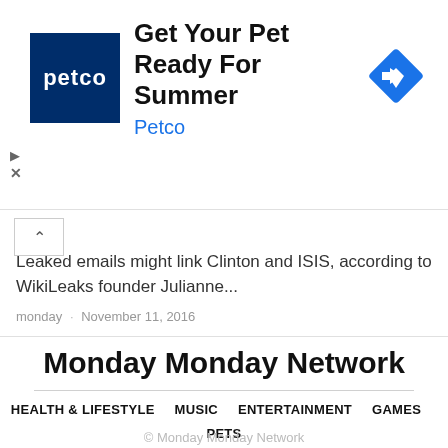[Figure (other): Petco advertisement banner with Petco logo (navy square with white petco text), heading 'Get Your Pet Ready For Summer', subheading 'Petco' in blue, and a blue diamond arrow icon on the right. Ad controls (play triangle and X close button) visible at left.]
Leaked emails might link Clinton and ISIS, according to WikiLeaks founder Julianne...
monday · November 11, 2016
Monday Monday Network
HEALTH & LIFESTYLE   MUSIC   ENTERTAINMENT   GAMES   PETS   POLITICS   SPORTS
© Monday Monday Network